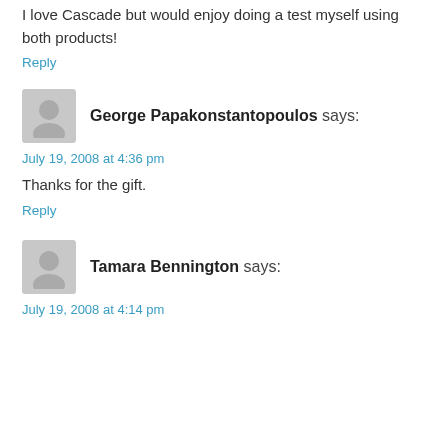I love Cascade but would enjoy doing a test myself using both products!
Reply
George Papakonstantopoulos says:
July 19, 2008 at 4:36 pm
Thanks for the gift.
Reply
Tamara Bennington says:
July 19, 2008 at 4:14 pm